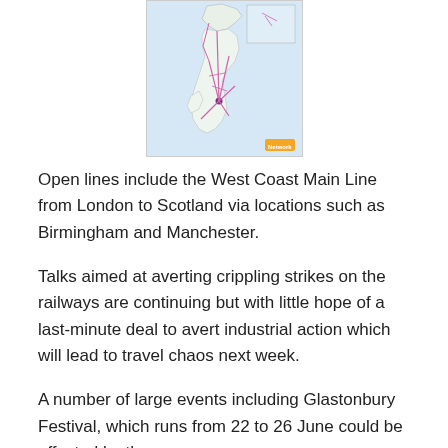[Figure (map): Map of Great Britain showing rail network lines, with routes marked in pink/purple radiating from a central hub, on a light blue background. Small orange logo in bottom right corner.]
Open lines include the West Coast Main Line from London to Scotland via locations such as Birmingham and Manchester.
Talks aimed at averting crippling strikes on the railways are continuing but with little hope of a last-minute deal to avert industrial action which will lead to travel chaos next week.
A number of large events including Glastonbury Festival, which runs from 22 to 26 June could be affected by the